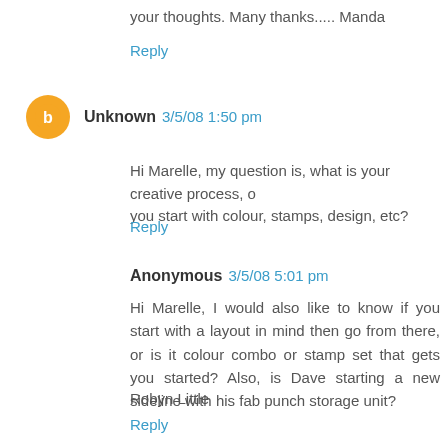your thoughts. Many thanks..... Manda
Reply
Unknown 3/5/08 1:50 pm
Hi Marelle, my question is, what is your creative process, o you start with colour, stamps, design, etc?
Reply
Anonymous 3/5/08 5:01 pm
Hi Marelle, I would also like to know if you start with a layout in mind then go from there, or is it colour combo or stamp set that gets you started? Also, is Dave starting a new sideline with his fab punch storage unit?

Robyn Little
Reply